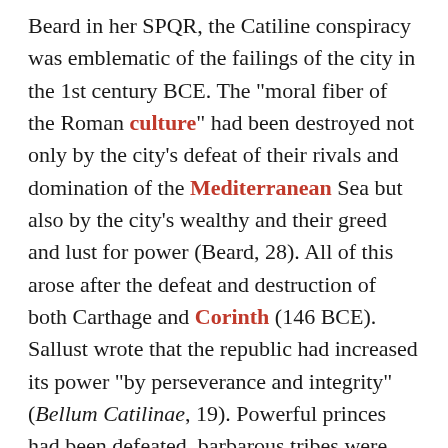Beard in her SPQR, the Catiline conspiracy was emblematic of the failings of the city in the 1st century BCE. The "moral fiber of the Roman culture" had been destroyed not only by the city's defeat of their rivals and domination of the Mediterranean Sea but also by the city's wealthy and their greed and lust for power (Beard, 28). All of this arose after the defeat and destruction of both Carthage and Corinth (146 BCE). Sallust wrote that the republic had increased its power "by perseverance and integrity" (Bellum Catilinae, 19). Powerful princes had been defeated, barbarous tribes were reduced to domination, and "Carthage, the rival of Rome's dominion, had been destroyed, and sea and land lay everywhere to her sway." (19) The long history of the city was seen as a desire for power. "At first the love of money, and then